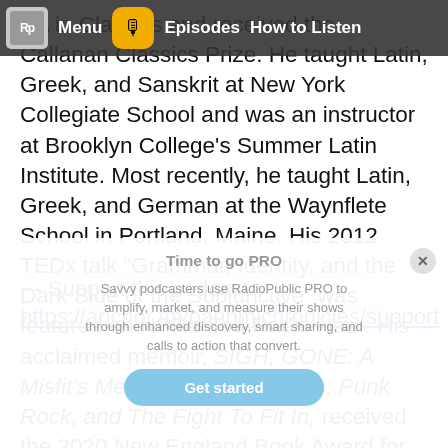Rp Menu [icon] Episodes How to Listen
BA in Classics and received the Callanan Classics Prize. He taught Latin, Greek, and Sanskrit at New York Collegiate School and was an instructor at Brooklyn College's Summer Latin Institute. Most recently, he taught Latin, Greek, and German at the Waynflete School in Portland, Maine. His 2012 TEDx talk “Grammar, Identity, and the Dark Side of the Subjunctive” was featured on NPR’s Ted Radio Hour. His acclaimed memoir, SIGH, GONE: A Misfit’s Memoir of Great Books, Punk Rock, and The Fight To Fit In, received the 2020 New England Book Award for Nonfiction.  He tattoos in Portland ME where he lives with his wife and two daughters.
--- Support this podcast: https://anchor.fm/banhmichronicles/support
Time to go PRO
Savvy podcasters use RadioPublic PRO to amplify, market, and measure their shows through enhanced discovery, smart sharing, and calls to action that convert.
Get started